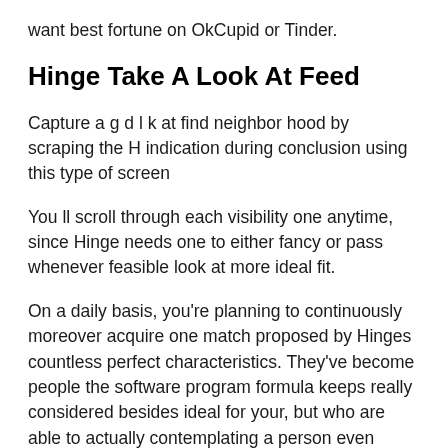want best fortune on OkCupid or Tinder.
Hinge Take A Look At Feed
Capture a g d l k at find neighbor hood by scraping the H indication during conclusion using this type of screen
You ll scroll through each visibility one anytime, since Hinge needs one to either fancy or pass whenever feasible look at more ideal fit.
On a daily basis, you’re planning to continuously moreover acquire one match proposed by Hinges countless perfect characteristics. They’ve become people the software program formula keeps really considered besides ideal for your, but who are able to actually contemplating a person even though